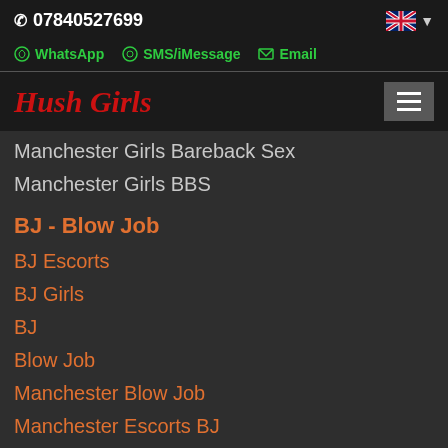07840527699
WhatsApp   SMS/iMessage   Email
Hush Girls
Manchester Girls Bareback Sex
Manchester Girls BBS
BJ - Blow Job
BJ Escorts
BJ Girls
BJ
Blow Job
Manchester Blow Job
Manchester Escorts BJ
Manchester Escorts Blow Job